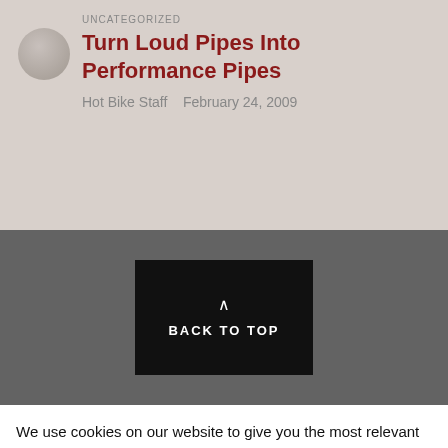UNCATEGORIZED
Turn Loud Pipes Into Performance Pipes
Hot Bike Staff   February 24, 2009
[Figure (other): Back to Top button with upward chevron on dark background, centered in a grey band]
We use cookies on our website to give you the most relevant experience by remembering your preferences and repeat visits. By clicking “Accept”, you consent to the use of ALL the cookies.
Do not sell my personal information.
Cookie Settings
Accept